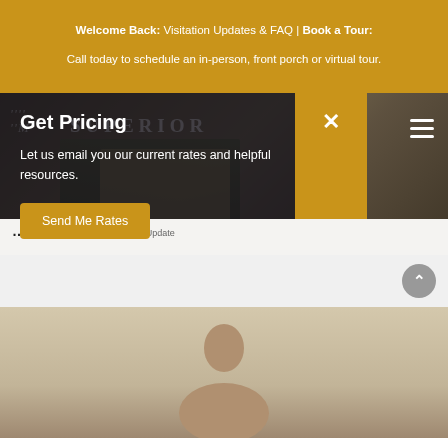Welcome Back: Visitation Updates & FAQ | Book a Tour: Call today to schedule an in-person, front porch or virtual tour.
[Figure (screenshot): Senior living facility website navigation area with logo reading SUPERIOR, hamburger menu icon, and a background photo of a large building. A modal popup overlays the nav area with text 'Get Pricing - Let us email you our current rates and helpful resources.' and a 'Send Me Rates' button. A gold vertical strip with an X close button appears to the right of the modal. Below is a breadcrumb bar showing page title ending in 'CS' and 'Update'. Bottom section shows white area with scroll-to-top button and partial photo of a person.]